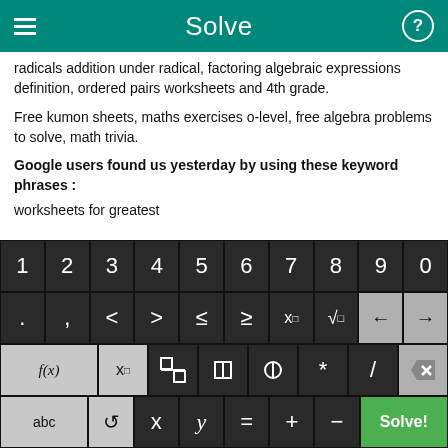Solve
radicals addition under radical, factoring algebraic expressions definition, ordered pairs worksheets and 4th grade.
Free kumon sheets, maths exercises o-level, free algebra problems to solve, math trivia.
Google users found us yesterday by using these keyword phrases :
worksheets for greatest
[Figure (screenshot): On-screen math keyboard with rows of digit keys (1-9,0), symbol keys (<,>,≤,≥,x^n,√,←,→), function keys (f(x),x_n,fraction,absolute value,parentheses,*,/,delete), and bottom row (abc,rotate,x,y,=,+,-,Solve!) on dark background. Solve! button is green.]